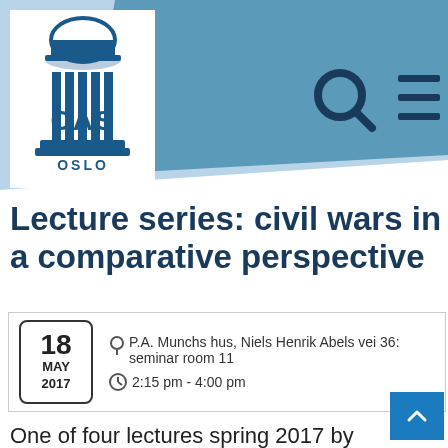[Figure (logo): CAS Oslo logo with classical column icon and text CAS OSLO, on white background with blue/light-blue diagonal banner header]
Lecture series: civil wars in a comparative perspective
18 MAY 2017 | P.A. Munchs hus, Niels Henrik Abels vei 36: seminar room 11 | 2:15 pm - 4:00 pm
One of four lectures spring 2017 by future CAS research project
Spring 2017, the future CAS research group The Nordic... "Civil Wars" in the High Middle Ages...